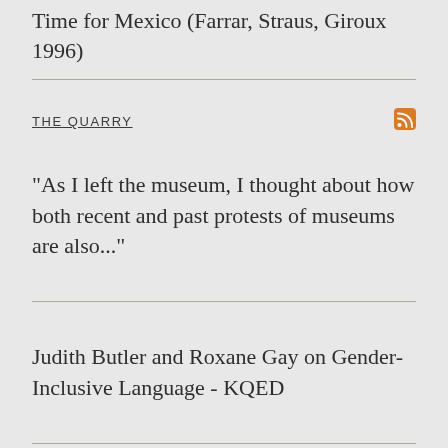Time for Mexico (Farrar, Straus, Giroux 1996)
THE QUARRY
"As I left the museum, I thought about how both recent and past protests of museums are also..."
Judith Butler and Roxane Gay on Gender-Inclusive Language - KQED